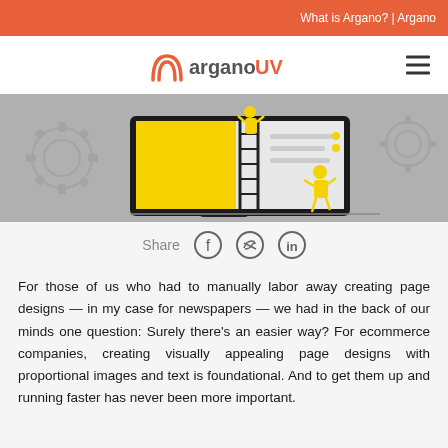What is Argano? | Argano
[Figure (logo): arganoUV logo with orange arch icon and hamburger menu icon on the right]
[Figure (illustration): Illustration of people working on a large desktop monitor screen, building/designing a webpage, with gear icons in background, on grey background]
Share
For those of us who had to manually labor away creating page designs — in my case for newspapers — we had in the back of our minds one question: Surely there's an easier way? For ecommerce companies, creating visually appealing page designs with proportional images and text is foundational. And to get them up and running faster has never been more important.